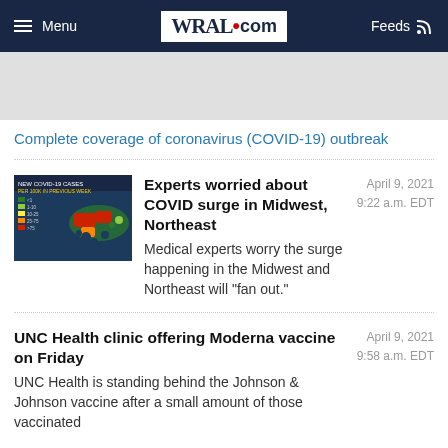Menu | WRAL.com | Feeds
[Figure (screenshot): Gray advertisement banner area]
Complete coverage of coronavirus (COVID-19) outbreak
[Figure (photo): Map of US showing new COVID-19 cases by state, with color coding from green to red]
Experts worried about COVID surge in Midwest, Northeast
Medical experts worry the surge happening in the Midwest and Northeast will "fan out."
April 9, 2021 9:22 a.m. EDT
UNC Health clinic offering Moderna vaccine on Friday
UNC Health is standing behind the Johnson & Johnson vaccine after a small amount of those vaccinated
April 9, 2021 9:58 a.m. EDT